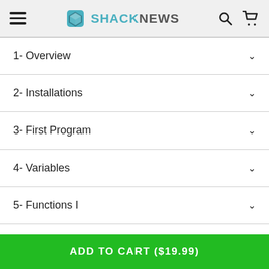ShackNews
1- Overview
2- Installations
3- First Program
4- Variables
5- Functions I
6- Project 1 - Functions
ADD TO CART ($19.99)